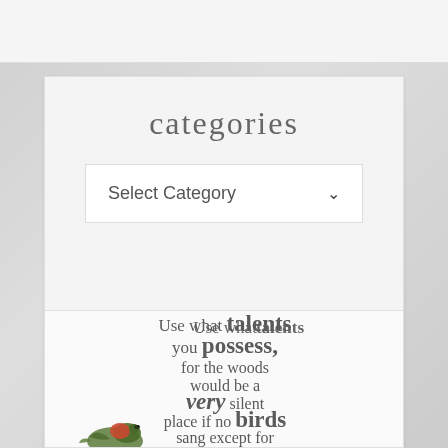categories
Select Category
[Figure (illustration): A watercolor-style card with handwritten calligraphy quote reading: Use what talents you possess, for the woods would be a very silent place if no birds sang except for the best. A watercolor robin bird is visible at the bottom of the card.]